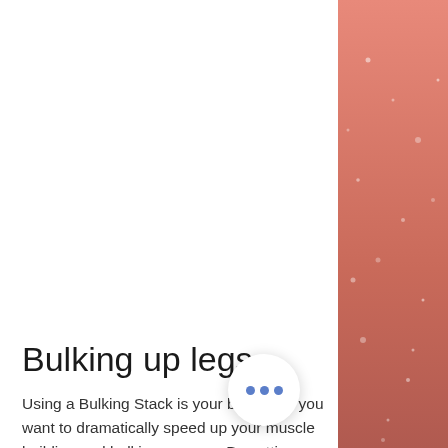Bulking up legs
Using a Bulking Stack is your best bet if you want to dramatically speed up your muscle building and bulking process. By getting a bigger bulk, you'll have a bigger muscle mass to work with. As an aside, this is like dieting which can cause you to lose